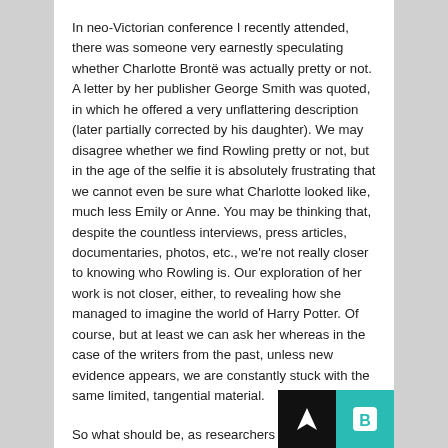In neo-Victorian conference I recently attended, there was someone very earnestly speculating whether Charlotte Brontë was actually pretty or not. A letter by her publisher George Smith was quoted, in which he offered a very unflattering description (later partially corrected by his daughter). We may disagree whether we find Rowling pretty or not, but in the age of the selfie it is absolutely frustrating that we cannot even be sure what Charlotte looked like, much less Emily or Anne. You may be thinking that, despite the countless interviews, press articles, documentaries, photos, etc., we're not really closer to knowing who Rowling is. Our exploration of her work is not closer, either, to revealing how she managed to imagine the world of Harry Potter. Of course, but at least we can ask her whereas in the case of the writers from the past, unless new evidence appears, we are constantly stuck with the same limited, tangential material.
So what should be, as researchers specializing in Literature, do? I don't know myself and I am begin...